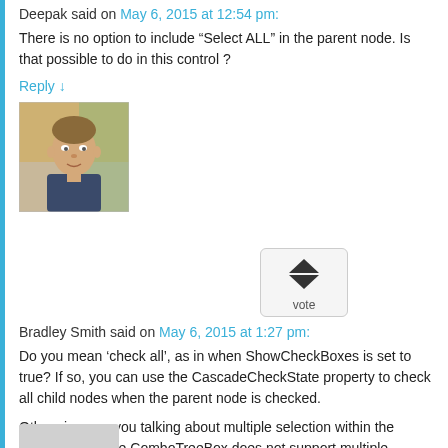Deepak said on May 6, 2015 at 12:54 pm:
There is no option to include “Select ALL” in the parent node. Is that possible to do in this control ?
Reply ↓
[Figure (photo): Avatar photo of a person]
[Figure (other): Vote button widget with up and down arrows and 'vote' label]
Bradley Smith said on May 6, 2015 at 1:27 pm:
Do you mean ‘check all’, as in when ShowCheckBoxes is set to true? If so, you can use the CascadeCheckState property to check all child nodes when the parent node is checked.
Otherwise, are you talking about multiple selection within the control? If so, the ComboTreeBox does not support multiple selected nodes.
Reply ↓